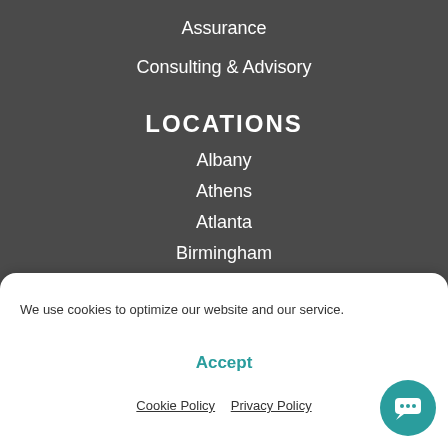Assurance
Consulting & Advisory
LOCATIONS
Albany
Athens
Atlanta
Birmingham
Bradenton
We use cookies to optimize our website and our service.
Accept
Cookie Policy   Privacy Policy